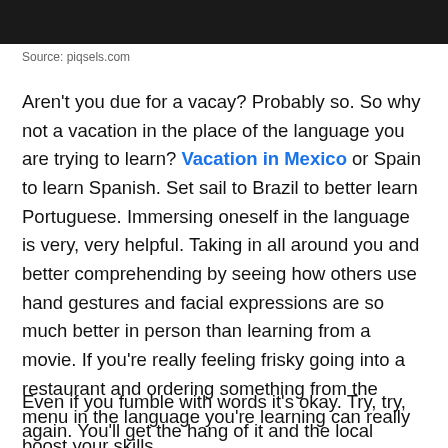[Figure (photo): Dark image of a person at the top of the page, cropped bar]
Source: piqsels.com
Aren't you due for a vacay? Probably so. So why not a vacation in the place of the language you are trying to learn? Vacation in Mexico or Spain to learn Spanish. Set sail to Brazil to better learn Portuguese. Immersing oneself in the language is very, very helpful. Taking in all around you and better comprehending by seeing how others use hand gestures and facial expressions are so much better in person than learning from a movie. If you're really feeling frisky going into a restaurant and ordering something from the menu in the language you're learning can really boost your skills.
Even if you fumble with words it's okay. Try, try, again. You'll get the hang of it and the local you're trying to impress will think it's awesome you even gave it a shot. The whole point